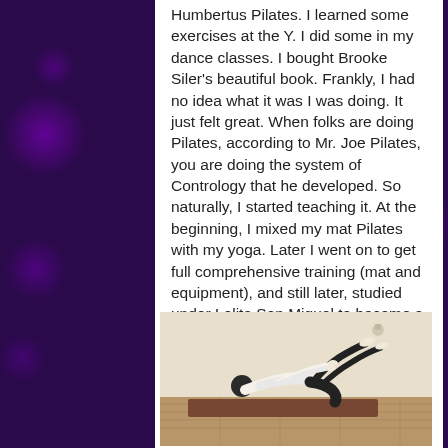Humbertus Pilates. I learned some exercises at the Y. I did some in my dance classes. I bought Brooke Siler's beautiful book. Frankly, I had no idea what it was I was doing. It just felt great. When folks are doing Pilates, according to Mr. Joe Pilates, you are doing the system of Contrology that he developed. So naturally, I started teaching it. At the beginning, I mixed my mat Pilates with my yoga. Later I went on to get full comprehensive training (mat and equipment), and still later, studied under Lolita San Miguel to become a master instructor.
[Figure (photo): A person performing a Pilates exercise on a mat on a wooden floor, lying on their back with legs raised and arms extended, in a room with beige walls.]